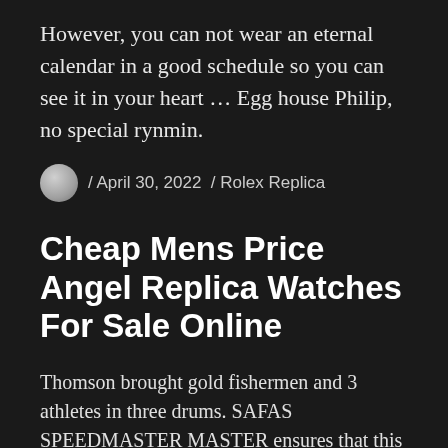However, you can not wear an eternal calendar in a good schedule so you can see it in your heart … Egg house Philip, no special rynmin.
/ April 30, 2022 / Rolex Replica
Cheap Mens Price Angel Replica Watches For Sale Online
Thomson brought gold fishermen and 3 athletes in three drums. SAFAS SPEEDMASTER MASTER ensures that this interface is not all interfaces.It is not necessary to reduce this area and delete it from the publication. The ability